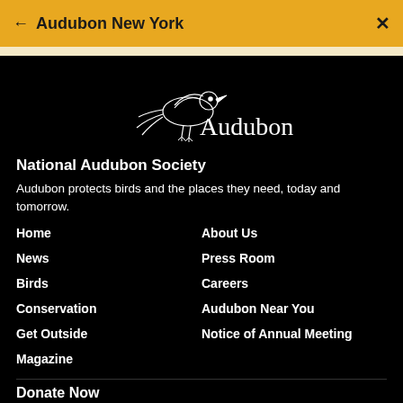← Audubon New York  ✕
[Figure (logo): Audubon logo with bird sketch and 'Audubon' wordmark in white on black background]
National Audubon Society
Audubon protects birds and the places they need, today and tomorrow.
Home
About Us
News
Press Room
Birds
Careers
Conservation
Audubon Near You
Get Outside
Notice of Annual Meeting
Magazine
Donate Now